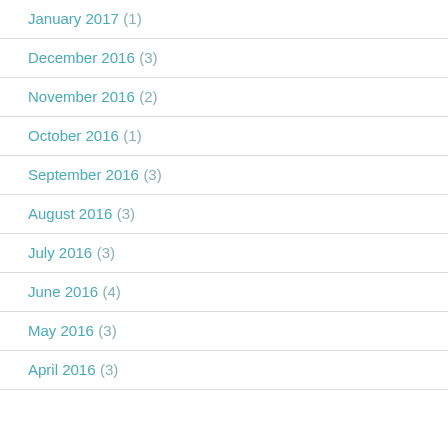January 2017 (1)
December 2016 (3)
November 2016 (2)
October 2016 (1)
September 2016 (3)
August 2016 (3)
July 2016 (3)
June 2016 (4)
May 2016 (3)
April 2016 (3)